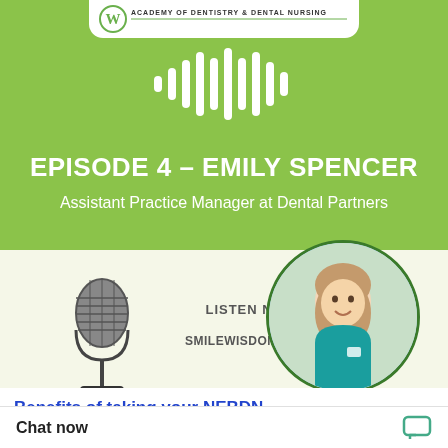[Figure (logo): Wisdom Academy of Dentistry & Dental Nursing logo with green W emblem and text]
[Figure (illustration): Audio waveform / sound wave icon in white on green background]
EPISODE 4 – EMILY SPENCER
Assistant Practice Manager at Dental Partners
[Figure (illustration): Microphone illustration in dark gray/black]
LISTEN NOW!
SMILEWISDOM.CO.UK
[Figure (photo): Circular portrait photo of Emily Spencer, a young woman with long brown hair wearing a teal dental uniform]
Benefits of taking your NEBDN Certificate in Dental Radiography
Chat now